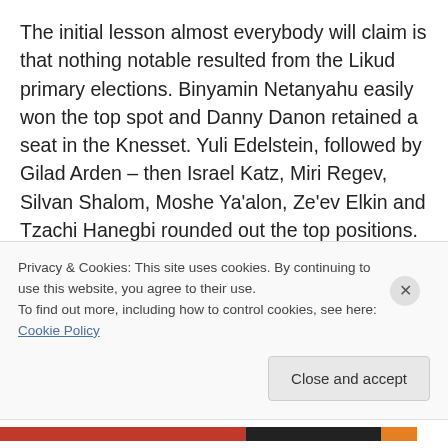The initial lesson almost everybody will claim is that nothing notable resulted from the Likud primary elections. Binyamin Netanyahu easily won the top spot and Danny Danon retained a seat in the Knesset. Yuli Edelstein, followed by Gilad Arden – then Israel Katz, Miri Regev, Silvan Shalom, Moshe Ya'alon, Ze'ev Elkin and Tzachi Hanegbi rounded out the top positions. The presumably big story is that none of the Likud leadership mentioned ceding land for making a Palestinian state, nor making conciliatory moves to placate the Demands of the
Privacy & Cookies: This site uses cookies. By continuing to use this website, you agree to their use.
To find out more, including how to control cookies, see here: Cookie Policy
Close and accept